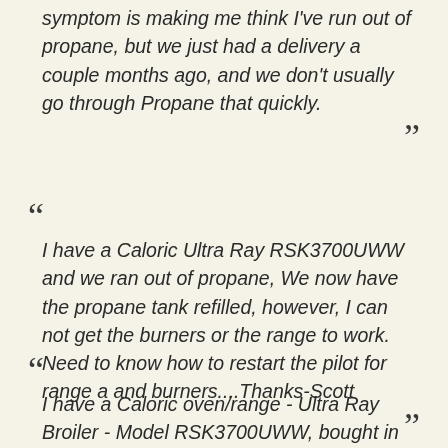symptom is making me think I've run out of propane, but we just had a delivery a couple months ago, and we don't usually go through Propane that quickly.
I have a Caloric Ultra Ray RSK3700UWW and we ran out of propane, We now have the propane tank refilled, however, I can not get the burners or the range to work. Need to know how to restart the pilot for range a and burners....Thanks-Scott
I have a Caloric oven/range - Ultra Ray Broiler - Model RSK3700UWW, bought in 1994. Almost from the beginning, sy 1995 or 1996, the oven come up only intermittently